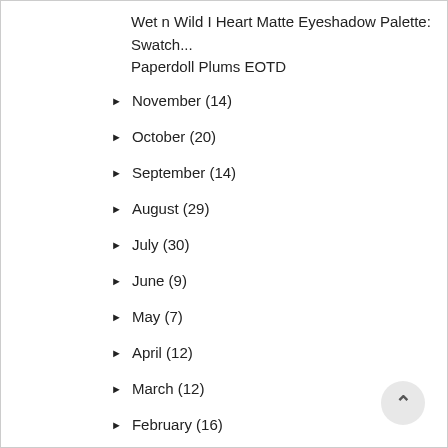Wet n Wild I Heart Matte Eyeshadow Palette: Swatch...
Paperdoll Plums EOTD
► November (14)
► October (20)
► September (14)
► August (29)
► July (30)
► June (9)
► May (7)
► April (12)
► March (12)
► February (16)
► January (19)
► 2010 (160)